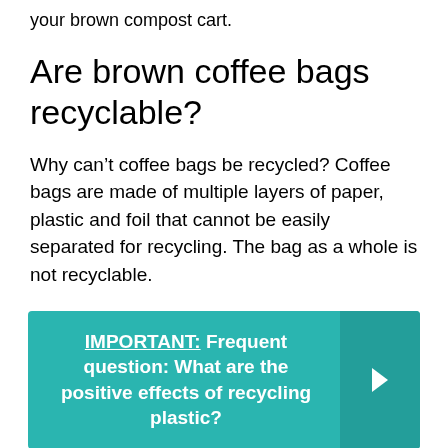your brown compost cart.
Are brown coffee bags recyclable?
Why can’t coffee bags be recycled? Coffee bags are made of multiple layers of paper, plastic and foil that cannot be easily separated for recycling. The bag as a whole is not recyclable.
IMPORTANT: Frequent question: What are the positive effects of recycling plastic?
[Figure (photo): Bottom portion of page showing a dark circular object (cup) with a teal banner overlay reading CUP MADE FROM]